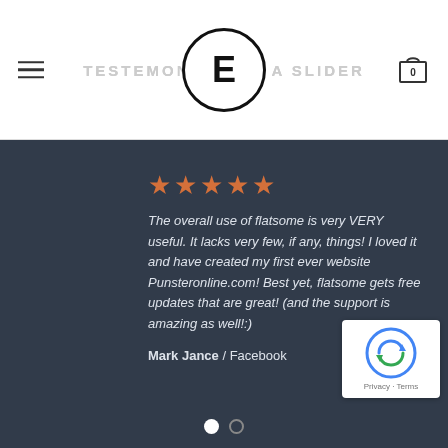TESTIMONIALS IN A SLIDER
[Figure (logo): Circle logo with letter E in bold black on white background]
The overall use of flatsome is very VERY useful. It lacks very few, if any, things! I loved it and have created my first ever website Punsteronline.com! Best yet, flatsome gets free updates that are great! (and the support is amazing as well!:)
Mark Jance / Facebook